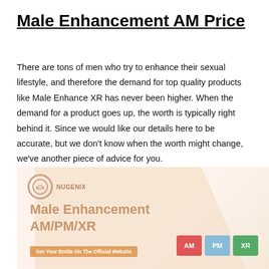Male Enhancement AM Price
There are tons of men who try to enhance their sexual lifestyle, and therefore the demand for top quality products like Male Enhance XR has never been higher. When the demand for a product goes up, the worth is typically right behind it. Since we would like our details here to be accurate, but we don't know when the worth might change, we've another piece of advice for you.
[Figure (illustration): Product advertisement image showing Male Enhancement AM/PM/XR branding with a peach/cream colored background shape, logo, product name text, a button reading 'Get Your Bottle On The Official Website', and three colored badge icons labeled AM, PM, XR]